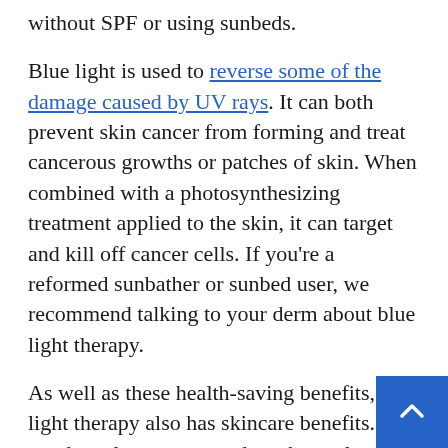without SPF or using sunbeds.
Blue light is used to reverse some of the damage caused by UV rays. It can both prevent skin cancer from forming and treat cancerous growths or patches of skin. When combined with a photosynthesizing treatment applied to the skin, it can target and kill off cancer cells. If you're a reformed sunbather or sunbed user, we recommend talking to your derm about blue light therapy.
As well as these health-saving benefits, blue light therapy also has skincare benefits. If you have large pores and produce a lot of oil, blue light therapy can reduce the size of your sebaceous glands and in turn reduce acne. If all of that isn't enough, it's also used to treat depression and is particularly effective when treating seasonal affective disorder (SAD). A